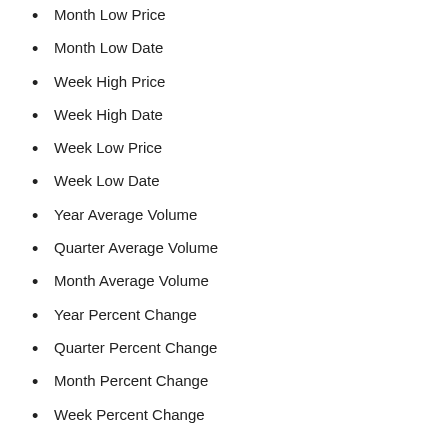Month Low Price
Month Low Date
Week High Price
Week High Date
Week Low Price
Week Low Date
Year Average Volume
Quarter Average Volume
Month Average Volume
Year Percent Change
Quarter Percent Change
Month Percent Change
Week Percent Change
Adding Fundamental data to a Chart